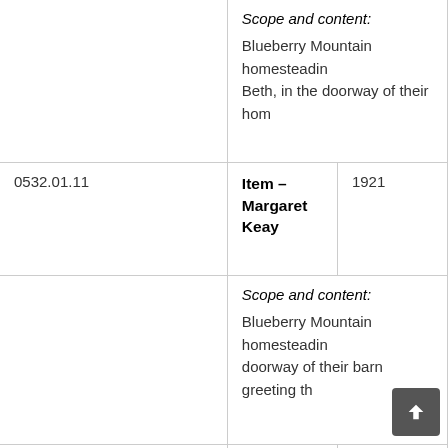| Reference | Title / Scope | Date |
| --- | --- | --- |
|  | Scope and content:

Blueberry Mountain homesteadin... Beth, in the doorway of their hom... |  |
| 0532.01.11 | Item – Margaret Keay | 1921 |
|  | Scope and content:

Blueberry Mountain homesteadin... doorway of their barn greeting th... |  |
| 0532.01.12 | Item – Joe Plantinga's Red Shack | 1956 |